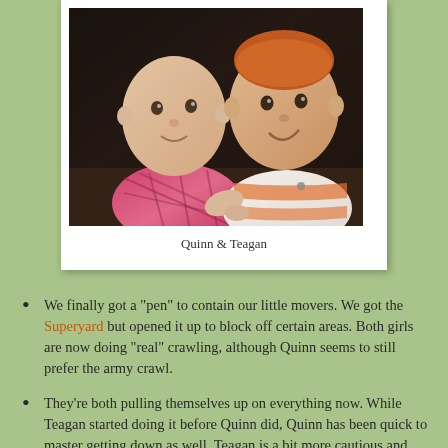[Figure (photo): Photo of two baby girls (Quinn and Teagan) in a polaroid-style white-bordered card]
Quinn & Teagan
We finally got a "pen" to contain our little movers. We got the Superyard but opened it up to block off certain areas. Both girls are now doing "real" crawling, although Quinn seems to still prefer the army crawl.
They're both pulling themselves up on everything now. While Teagan started doing it before Quinn did, Quinn has been quick to master getting down as well. Teagan is a bit more cautious and will usually look at me with her big puppy dog and whimper when she wants down. Today though, she made a breakthrough and found her own unique way of getting down (see